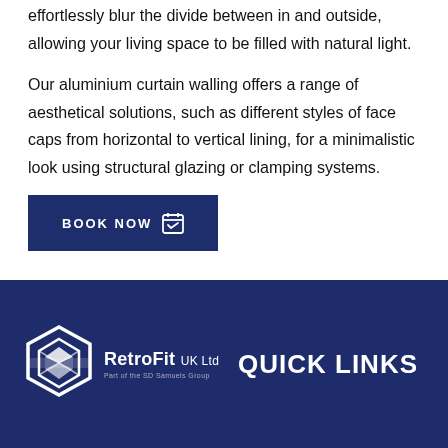effortlessly blur the divide between in and outside, allowing your living space to be filled with natural light.
Our aluminium curtain walling offers a range of aesthetical solutions, such as different styles of face caps from horizontal to vertical lining, for a minimalistic look using structural glazing or clamping systems.
BOOK NOW
[Figure (logo): RetroFit UK Ltd logo - Part of the SD Samuels Group, white hexagon icon with layered diamond shapes]
QUICK LINKS